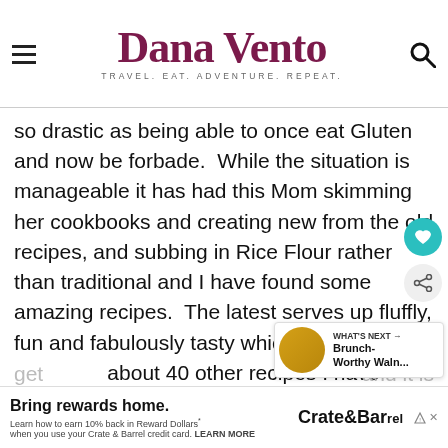Dana Vento — TRAVEL. EAT. ADVENTURE. REPEAT.
so drastic as being able to once eat Gluten and now be forbade.  While the situation is manageable it has had this Mom skimming her cookbooks and creating new from the old recipes, and subbing in Rice Flour rather than traditional and I have found some amazing recipes.  The latest serves up fluffly, fun and fabulously tasty which is more than about 40 other recipes I have tried.  We are get and it is
[Figure (other): Advertisement banner: Crate & Barrel — Bring rewards home. Learn how to earn 10% back in Reward Dollars when you use your Crate & Barrel credit card. LEARN MORE]